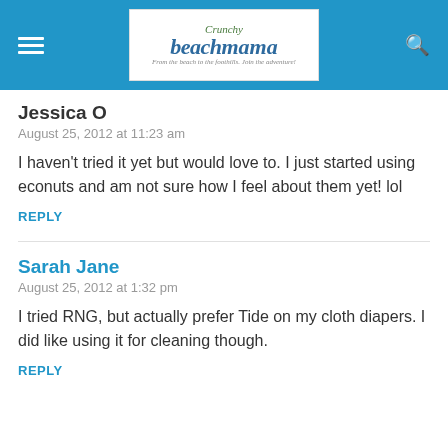Crunchy Beach Mama — From the beach to the foothills. Join the adventure!
Jessica O
August 25, 2012 at 11:23 am
I haven't tried it yet but would love to. I just started using econuts and am not sure how I feel about them yet! lol
REPLY
Sarah Jane
August 25, 2012 at 1:32 pm
I tried RNG, but actually prefer Tide on my cloth diapers. I did like using it for cleaning though.
REPLY